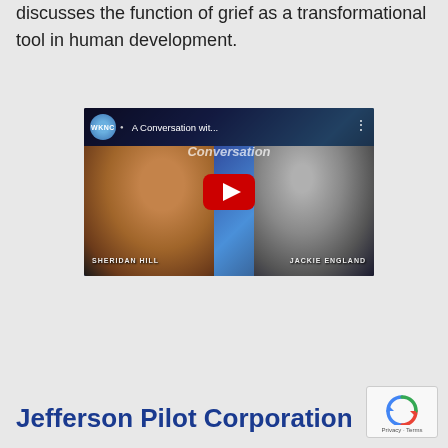discusses the function of grief as a transformational tool in human development.
[Figure (screenshot): YouTube video thumbnail showing 'A Conversation wit...' with WKNC logo, two people (Sheridan Hill and Jackie England), and a red YouTube play button overlay]
Jefferson Pilot Corporation